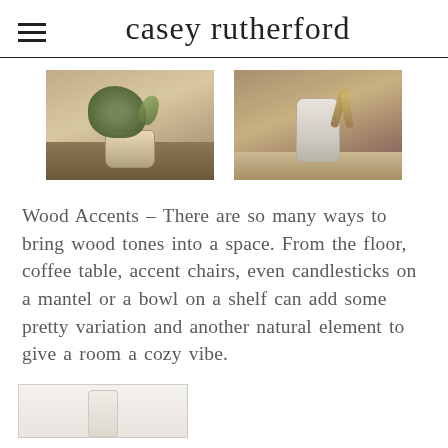casey rutherford
[Figure (photo): Two photos side by side: left shows a small potted plant with green foliage in a cream/terracotta pot on a wooden surface; right shows a textured ceramic vase or container with wooden sticks/utensils on a wooden board.]
Wood Accents – There are so many ways to bring wood tones into a space. From the floor, coffee table, accent chairs, even candlesticks on a mantel or a bowl on a shelf can add some pretty variation and another natural element to give a room a cozy vibe.
[Figure (photo): Partial photo at bottom showing a white/light-colored object on a light background, cropped.]